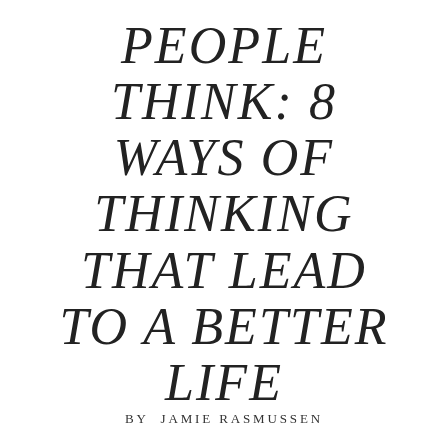PEOPLE THINK: 8 WAYS OF THINKING THAT LEAD TO A BETTER LIFE
BY JAMIE RASMUSSEN